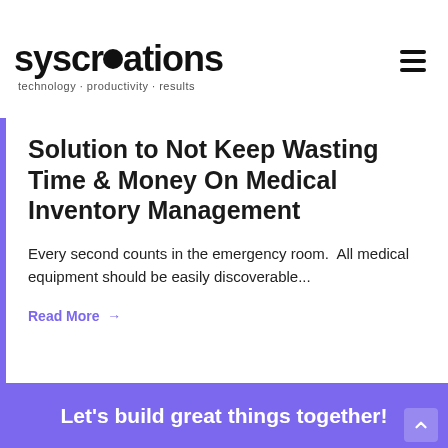syscreations — technology · productivity · results
Solution to Not Keep Wasting Time & Money On Medical Inventory Management
Every second counts in the emergency room.  All medical equipment should be easily discoverable...
Read More →
Let's build great things together!